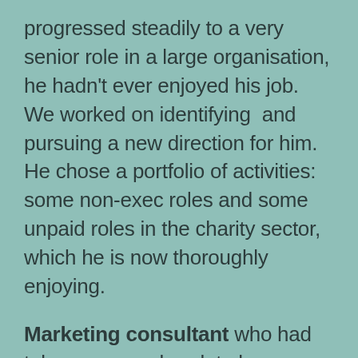progressed steadily to a very senior role in a large organisation, he hadn't ever enjoyed his job.  We worked on identifying  and pursuing a new direction for him.  He chose a portfolio of activities: some non-exec roles and some unpaid roles in the charity sector, which he is now thoroughly enjoying.
Marketing consultant who had taken a career break to have children and who now wanted to do something different which fitted better with family life.  We spent several meetings helping her become clearer on what her options might be.  She decided to mix a